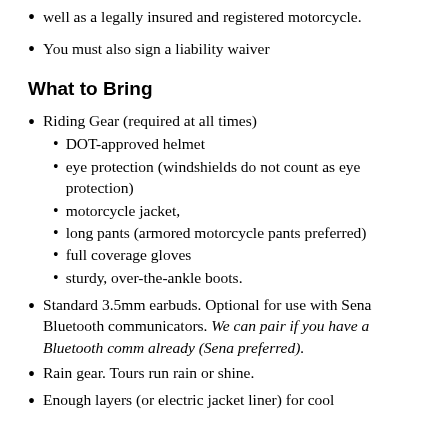well as a legally insured and registered motorcycle.
You must also sign a liability waiver
What to Bring
Riding Gear (required at all times)
DOT-approved helmet
eye protection (windshields do not count as eye protection)
motorcycle jacket,
long pants (armored motorcycle pants preferred)
full coverage gloves
sturdy, over-the-ankle boots.
Standard 3.5mm earbuds. Optional for use with Sena Bluetooth communicators. We can pair if you have a Bluetooth comm already (Sena preferred).
Rain gear. Tours run rain or shine.
Enough layers (or electric jacket liner) for cool